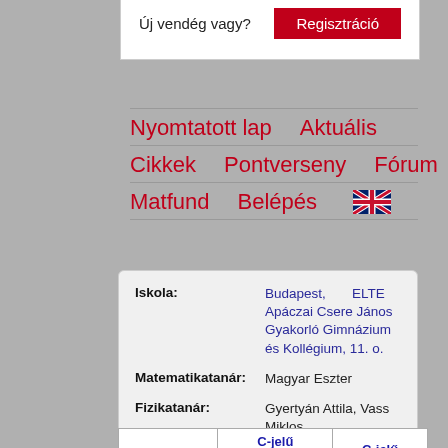Új vendég vagy?
Regisztráció
Nyomtatott lap   Aktuális
Cikkek   Pontverseny   Fórum
Matfund   Belépés
|  | C-jelű matematika gyakorlatok | C-jelű matem... |
| --- | --- | --- |
Iskola: Budapest, ELTE Apáczai Csere János Gyakorló Gimnázium és Kollégium, 11. o.
Matematikatanár: Magyar Eszter
Fizikatanár: Gyertyán Attila, Vass Miklos
Informatikatanár: Pirity Tamás Gábor